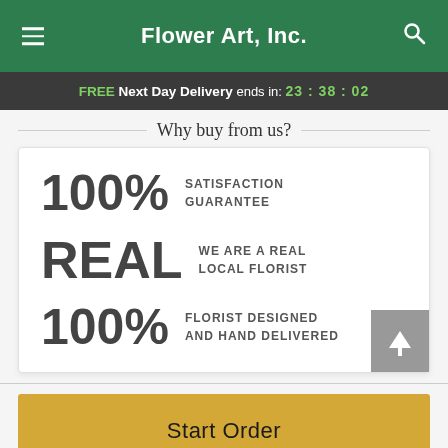Flower Art, Inc.
FREE Next Day Delivery ends in: 23 : 38 : 02
Why buy from us?
100% SATISFACTION GUARANTEE
REAL WE ARE A REAL LOCAL FLORIST
100% FLORIST DESIGNED AND HAND DELIVERED
Start Order